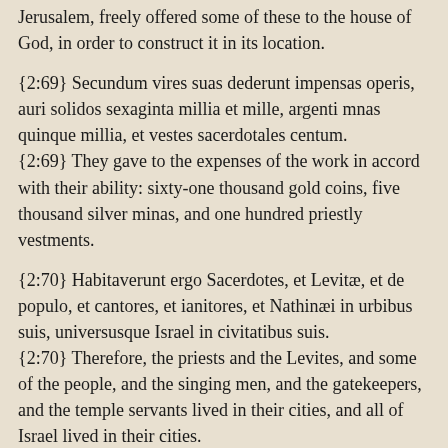Jerusalem, freely offered some of these to the house of God, in order to construct it in its location.
{2:69} Secundum vires suas dederunt impensas operis, auri solidos sexaginta millia et mille, argenti mnas quinque millia, et vestes sacerdotales centum.
{2:69} They gave to the expenses of the work in accord with their ability: sixty-one thousand gold coins, five thousand silver minas, and one hundred priestly vestments.
{2:70} Habitaverunt ergo Sacerdotes, et Levitæ, et de populo, et cantores, et ianitores, et Nathinæi in urbibus suis, universusque Israel in civitatibus suis.
{2:70} Therefore, the priests and the Levites, and some of the people, and the singing men, and the gatekeepers, and the temple servants lived in their cities, and all of Israel lived in their cities.
[Esdras 3]